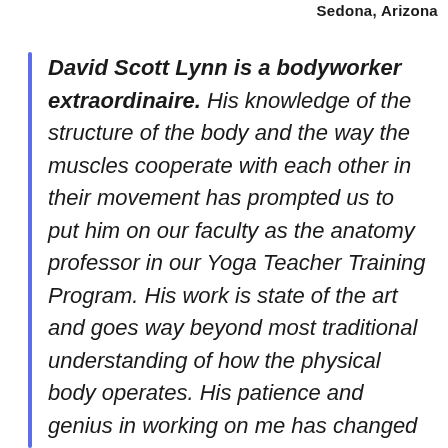Sedona, Arizona
David Scott Lynn is a bodyworker extraordinaire. His knowledge of the structure of the body and the way the muscles cooperate with each other in their movement has prompted us to put him on our faculty as the anatomy professor in our Yoga Teacher Training Program. His work is state of the art and goes way beyond most traditional understanding of how the physical body operates. His patience and genius in working on me has changed my awareness of myself. His